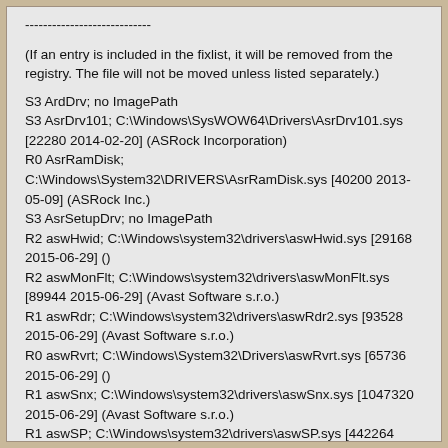----------------------------
(If an entry is included in the fixlist, it will be removed from the registry. The file will not be moved unless listed separately.)
S3 ArdDrv; no ImagePath
S3 AsrDrv101; C:\Windows\SysWOW64\Drivers\AsrDrv101.sys [22280 2014-02-20] (ASRock Incorporation)
R0 AsrRamDisk; C:\Windows\System32\DRIVERS\AsrRamDisk.sys [40200 2013-05-09] (ASRock Inc.)
S3 AsrSetupDrv; no ImagePath
R2 aswHwid; C:\Windows\system32\drivers\aswHwid.sys [29168 2015-06-29] ()
R2 aswMonFlt; C:\Windows\system32\drivers\aswMonFlt.sys [89944 2015-06-29] (Avast Software s.r.o.)
R1 aswRdr; C:\Windows\system32\drivers\aswRdr2.sys [93528 2015-06-29] (Avast Software s.r.o.)
R0 aswRvrt; C:\Windows\System32\Drivers\aswRvrt.sys [65736 2015-06-29] ()
R1 aswSnx; C:\Windows\system32\drivers\aswSnx.sys [1047320 2015-06-29] (Avast Software s.r.o.)
R1 aswSP; C:\Windows\system32\drivers\aswSP.sys [442264 2015-06-29] (Avast Software s.r.o.)